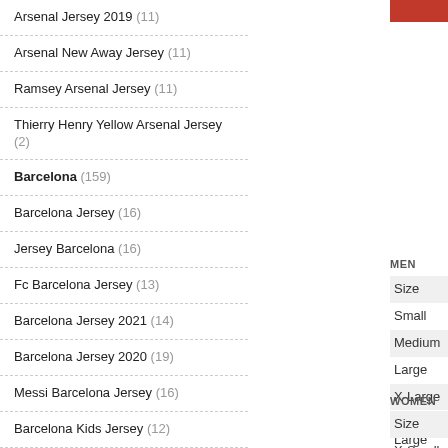Arsenal Jersey 2019 (11)
Arsenal New Away Jersey (11)
Ramsey Arsenal Jersey (11)
Thierry Henry Yellow Arsenal Jersey (2)
Barcelona (159)
Barcelona Jersey (16)
Jersey Barcelona (16)
Fc Barcelona Jersey (13)
Barcelona Jersey 2021 (14)
Barcelona Jersey 2020 (19)
Messi Barcelona Jersey (16)
Barcelona Kids Jersey (12)
Barcelona 18 19 Jersey (10)
Barcelona Jersey 19 20 (11)
Fc Barcelona Football Jersey (13)
MEN
Size
Small
Medium
Large
X-Large
2X-Large
WOMEN
Size
X-Small
Small
Medium
Large
X-Large